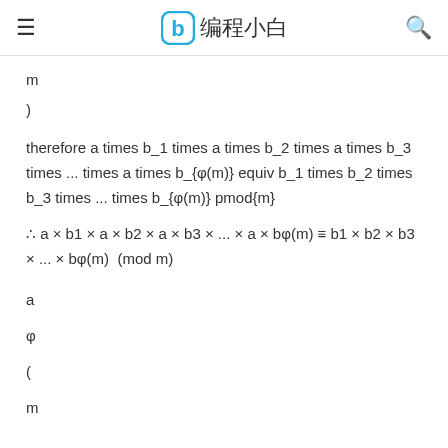编程小白
m
)
therefore a times b_1 times a times b_2 times a times b_3 times ... times a times b_{φ(m)} equiv b_1 times b_2 times b_3 times ... times b_{φ(m)} pmod{m}
a
φ
(
m